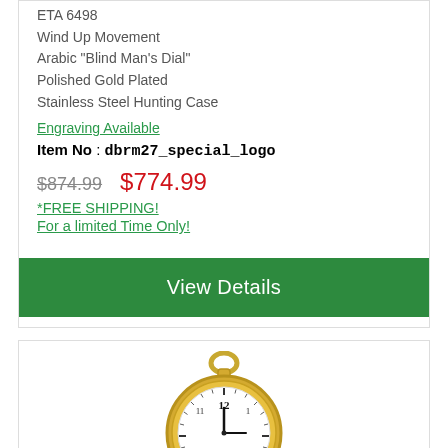ETA 6498
Wind Up Movement
Arabic "Blind Man's Dial"
Polished Gold Plated
Stainless Steel Hunting Case
Engraving Available
Item No : dbrm27_special_logo
$874.99   $774.99
*FREE SHIPPING!
For a limited Time Only!
View Details
[Figure (photo): Gold pocket watch with white dial showing Arabic numerals, visible at bottom of page]